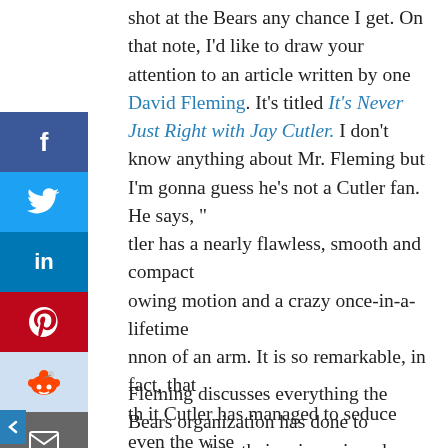shot at the Bears any chance I get.  On that note, I'd like to draw your attention to an article written by one David Fleming.  It's titled It's Never Just Right with Jay Cutler.  I don't know anything about Mr. Fleming but I'm gonna guess he's not a Cutler fan.  He says, " tler has a nearly flawless, smooth and compact owing motion and a crazy once-in-a-lifetime nnon of an arm. It is so remarkable, in fact, that th it Cutler has managed to seduce even the wise d hardened fan base of Chicago for more than six ars. But we all know playing quarterback in the NFL about so much more than passing the ball and en screaming at your subordinates when things go orly.  Which means, given his track record of adership, the only franchise Cutler should be running is a Denny's."
Fleming discusses everything the Bears organization has done to accommodate their pricy prima donna,